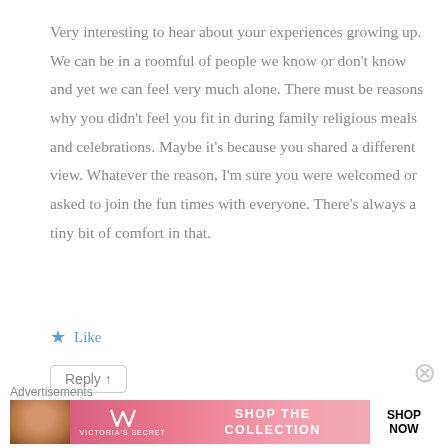Very interesting to hear about your experiences growing up. We can be in a roomful of people we know or don't know and yet we can feel very much alone. There must be reasons why you didn't feel you fit in during family religious meals and celebrations. Maybe it's because you shared a different view. Whatever the reason, I'm sure you were welcomed or asked to join the fun times with everyone. There's always a tiny bit of comfort in that.
★ Like
Reply ↑
Advertisements
[Figure (other): Victoria's Secret advertisement banner with a model, VS logo, 'SHOP THE COLLECTION' text and 'SHOP NOW' button on pink background]